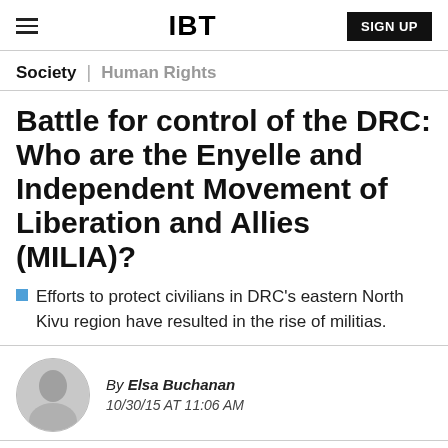IBT | SIGN UP
Society | Human Rights
Battle for control of the DRC: Who are the Enyelle and Independent Movement of Liberation and Allies (MILIA)?
Efforts to protect civilians in DRC's eastern North Kivu region have resulted in the rise of militias.
By Elsa Buchanan
10/30/15 AT 11:06 AM